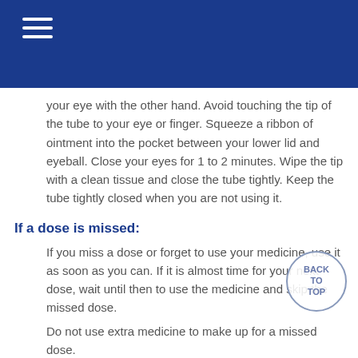your eye with the other hand. Avoid touching the tip of the tube to your eye or finger. Squeeze a ribbon of ointment into the pocket between your lower lid and eyeball. Close your eyes for 1 to 2 minutes. Wipe the tip with a clean tissue and close the tube tightly. Keep the tube tightly closed when you are not using it.
If a dose is missed:
If you miss a dose or forget to use your medicine, use it as soon as you can. If it is almost time for your next dose, wait until then to use the medicine and skip the missed dose.
Do not use extra medicine to make up for a missed dose.
How to Store and Dispose of This Medicine:
Store the medicine at room temperature, away from